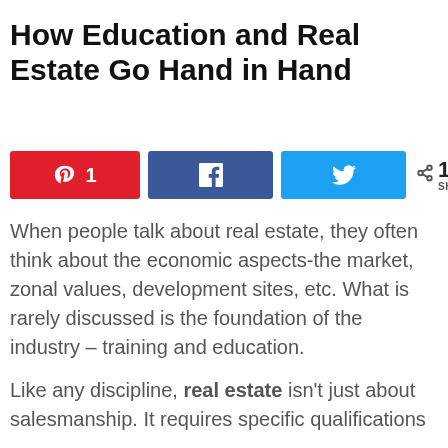How Education and Real Estate Go Hand in Hand
[Figure (infographic): Social sharing buttons row: Pinterest button with count '1', Facebook button, Twitter button, and share count showing '1 SHARES']
When people talk about real estate, they often think about the economic aspects-the market, zonal values, development sites, etc. What is rarely discussed is the foundation of the industry – training and education.
Like any discipline, real estate isn't just about salesmanship. It requires specific qualifications